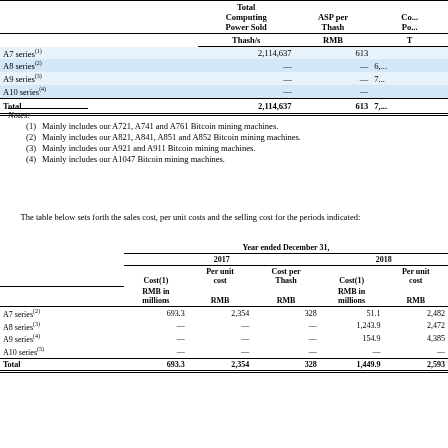|  | Total Computing Power Sold Thash/s | ASP per Thash RMB | Co... Po... T... |
| --- | --- | --- | --- |
| A7 series(1) | 2,114,637 | 613 |  |
| A8 series(2) | — | — | 6,... |
| A9 series(3) | — | — | 7,... |
| A10 series(4) | — | — |  |
| Total | 2,114,637 | 613 | 7,... |
Notes:
(1) Mainly includes our A721, A741 and A761 Bitcoin mining machines.
(2) Mainly includes our A821, A841, A851 and A852 Bitcoin mining machines.
(3) Mainly includes our A921 and A911 Bitcoin mining machines.
(4) Mainly includes our A1047 Bitcoin mining machines.
The table below sets forth the sales cost, per unit costs and the selling cost for the periods indicated:
|  | Year ended December 31, |  |  |  |  |
| --- | --- | --- | --- | --- | --- |
|  | 2017 |  |  | 2018 |  |
|  | Cost(1) RMB in millions | Per unit cost RMB | Cost per Thash RMB | Cost(1) RMB in millions | Per unit cost RMB |
| A7 series(2) | 693.3 | 2,354 | 328 | 51.1 | 2,482 |
| A8 series(3) | — | — | — | 1,243.9 | 2,472 |
| A9 series(4) | — | — | — | 154.9 | 4,385 |
| A10 series(5) | — | — | — | — | — |
| Total | 693.3 | 2,354 | 328 | 1,449.9 | 2,593 |